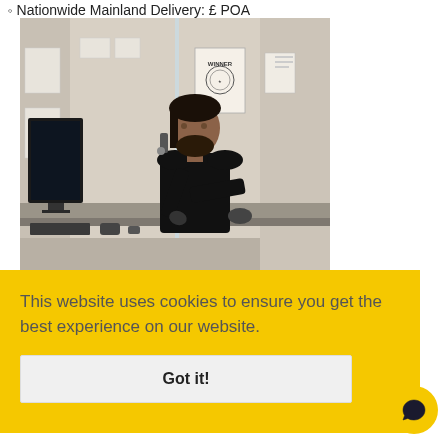Nationwide Mainland Delivery: £ POA
[Figure (photo): A person sitting at a desk inside a modular office cabin or portable building, talking on the phone. A 'WINNER' award poster is visible on the wall. The person is wearing black and using a computer.]
This website uses cookies to ensure you get the best experience on our website.
Got it!